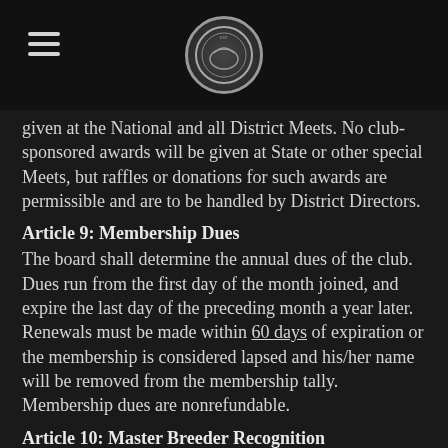[Navigation menu icon] [Organization seal]
given at the National and all District Meets. No club-sponsored awards will be given at State or other special Meets, but raffles or donations for such awards are permissible and are to be handled by District Directors.
Article 9: Membership Dues
The board shall determine the annual dues of the club. Dues run from the first day of the month joined, and expire the last day of the preceding month a year later. Renewals must be made within 60 days of expiration or the membership is considered lapsed and his/her name will be removed from the membership tally. Membership dues are nonrefundable.
Article 10: Master Breeder Recognition
Section 1 – Members must be in good standing in order to accrue points and receive special recognition as a Master Breeder.